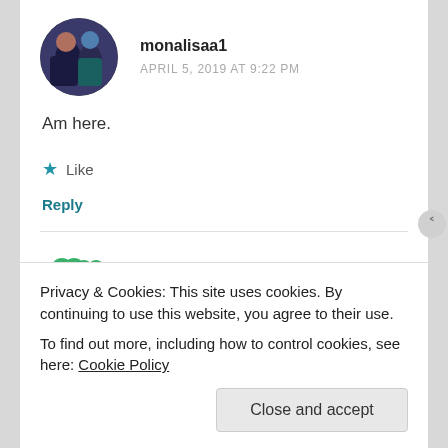monalisaa1
APRIL 5, 2019 AT 9:22 PM
Am here.
★ Like
Reply
chichu1
Privacy & Cookies: This site uses cookies. By continuing to use this website, you agree to their use.
To find out more, including how to control cookies, see here: Cookie Policy
Close and accept